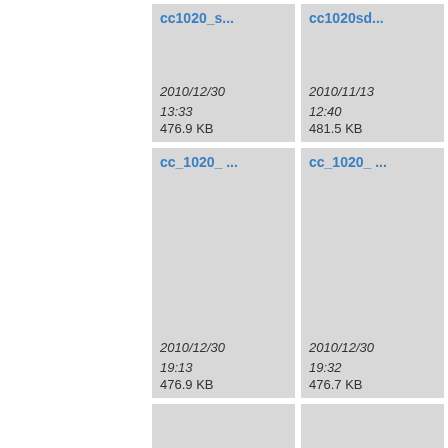[Figure (screenshot): File browser grid view showing file thumbnails with names, dates, and sizes. Row 1: cc1020_s... (2010/12/30 13:33, 476.9 KB), cc1020sd... (2010/11/13 12:40, 481.5 KB), cc... (partially visible). Row 2: cc_1020_... (2010/12/30 19:13, 476.9 KB), cc_1020_... (2010/12/30 19:32, 476.7 KB), cr... (partially visible). Row 3: crystal_p... (partially shown), crystal_p... (partially shown), de... (partially visible).]